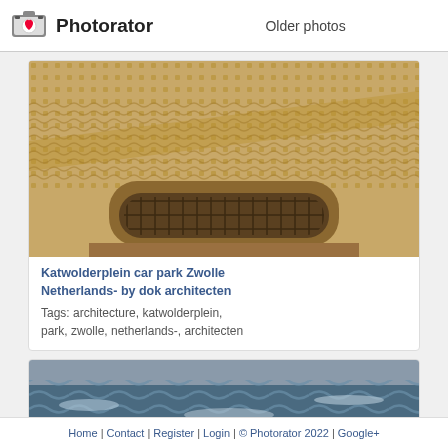Photorator — Older photos
[Figure (photo): Textured sandy facade of Katwolderplein car park in Zwolle with an arched window/vent covered by a metal grid]
Katwolderplein car park Zwolle Netherlands- by dok architecten
Tags: architecture, katwolderplein, park, zwolle, netherlands-, architecten
[Figure (photo): Ocean waves with rough sea surface, grey sky, a small figure visible in the water]
Home | Contact | Register | Login | © Photorator 2022 | Google+